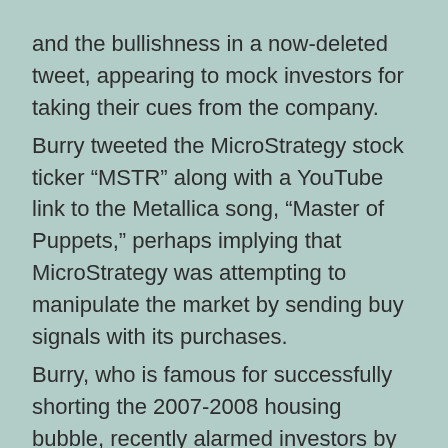and the bullishness in a now-deleted tweet, appearing to mock investors for taking their cues from the company. Burry tweeted the MicroStrategy stock ticker “MSTR” along with a YouTube link to the Metallica song, “Master of Puppets,” perhaps implying that MicroStrategy was attempting to manipulate the market by sending buy signals with its purchases. Burry, who is famous for successfully shorting the 2007-2008 housing bubble, recently alarmed investors by tweeting about the upcoming “bubble of all bubbles” in all asset